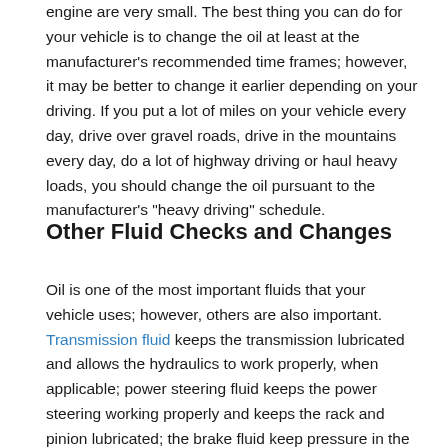engine are very small. The best thing you can do for your vehicle is to change the oil at least at the manufacturer's recommended time frames; however, it may be better to change it earlier depending on your driving. If you put a lot of miles on your vehicle every day, drive over gravel roads, drive in the mountains every day, do a lot of highway driving or haul heavy loads, you should change the oil pursuant to the manufacturer's "heavy driving" schedule.
Other Fluid Checks and Changes
Oil is one of the most important fluids that your vehicle uses; however, others are also important. Transmission fluid keeps the transmission lubricated and allows the hydraulics to work properly, when applicable; power steering fluid keeps the power steering working properly and keeps the rack and pinion lubricated; the brake fluid keep pressure in the system for the calipers; and the antifreeze, which not only keeps the engine from